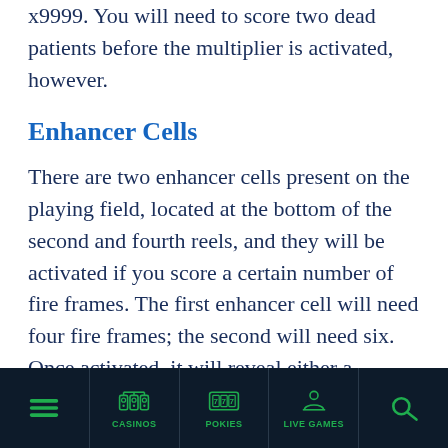x9999. You will need to score two dead patients before the multiplier is activated, however.
Enhancer Cells
There are two enhancer cells present on the playing field, located at the bottom of the second and fourth reels, and they will be activated if you score a certain number of fire frames. The first enhancer cell will need four fire frames; the second will need six. Once activated, it will reveal either a
≡  CASINOS  POKIES  LIVE GAMES  🔍